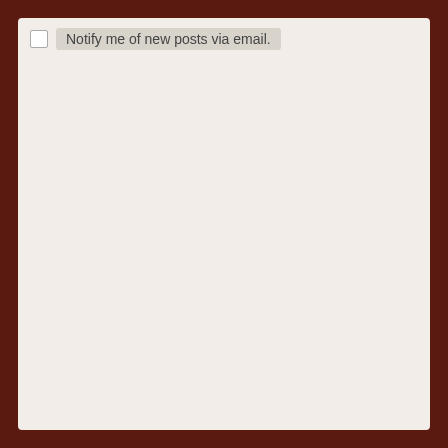Notify me of new posts via email.